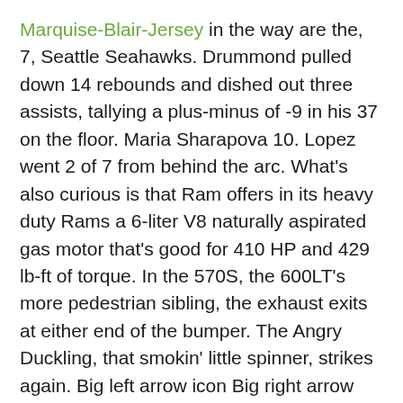Marquise-Blair-Jersey in the way are the, 7, Seattle Seahawks. Drummond pulled down 14 rebounds and dished out three assists, tallying a plus-minus of -9 in his 37 on the floor. Maria Sharapova 10. Lopez went 2 of 7 from behind the arc. What's also curious is that Ram offers in its heavy duty Rams a 6-liter V8 naturally aspirated gas motor that's good for 410 HP and 429 lb-ft of torque. In the 570S, the 600LT's more pedestrian sibling, the exhaust exits at either end of the bumper. The Angry Duckling, that smokin' little spinner, strikes again. Big left arrow icon Big right arrow icon Close icon Copy Url Three dots icon Down arrow icon Email icon Email icon Exit Fullscreen icon External link icon Facebook logo Football icon Facebook logo Instagram logo Snapchat logo YouTube logo Grid icon Key icon Left arrow icon Wholesale Jerseys Free Shipping link icon